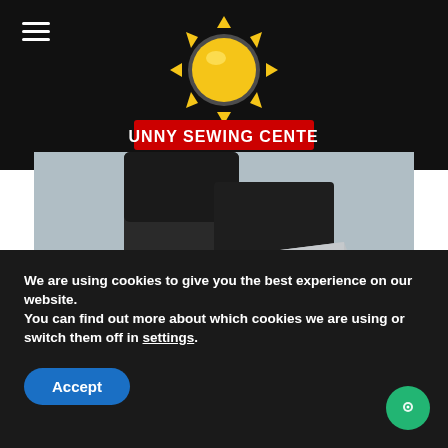[Figure (logo): Sunny Sewing Center logo with yellow sun graphic and red text on black background]
[Figure (photo): Close-up photo of an industrial sewing machine showing needle, presser foot, arm, and mechanism in grey/white colors on a table]
We are using cookies to give you the best experience on our website.
You can find out more about which cookies we are using or switch them off in settings.
Accept